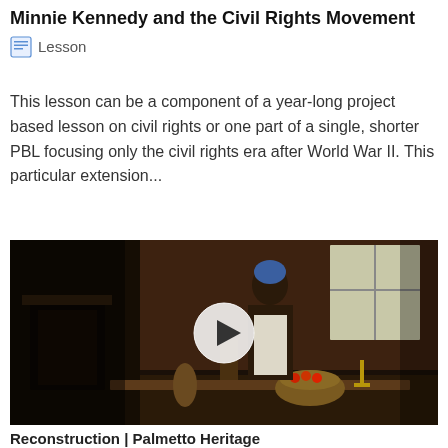Minnie Kennedy and the Civil Rights Movement
Lesson
This lesson can be a component of a year-long project based lesson on civil rights or one part of a single, shorter PBL focusing only the civil rights era after World War II. This particular extension...
[Figure (photo): Video thumbnail showing a woman in period costume (blue head covering, white apron) standing in a historic room with a fireplace, windows, and a table with a basket of produce. A white circular play button is overlaid in the center.]
Reconstruction | Palmetto Heritage